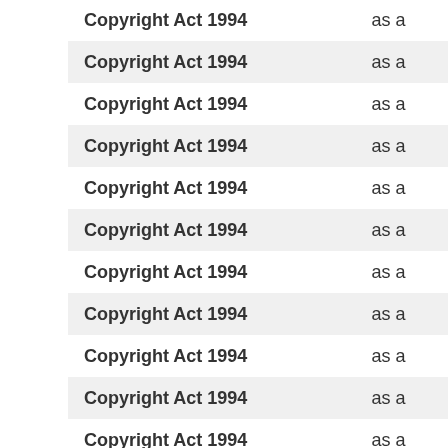| Act | Status |
| --- | --- |
| Copyright Act 1994 | as a |
| Copyright Act 1994 | as a |
| Copyright Act 1994 | as a |
| Copyright Act 1994 | as a |
| Copyright Act 1994 | as a |
| Copyright Act 1994 | as a |
| Copyright Act 1994 | as a |
| Copyright Act 1994 | as a |
| Copyright Act 1994 | as a |
| Copyright Act 1994 | as a |
| Copyright Act 1994 | as a |